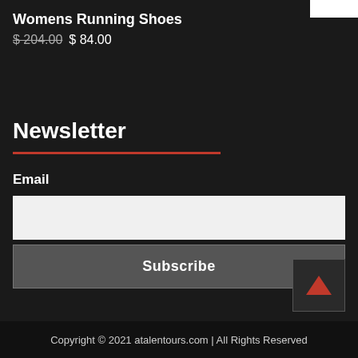Womens Running Shoes
$ 204.00  $ 84.00
Newsletter
Email
Subscribe
Copyright © 2021 atalentours.com | All Rights Reserved